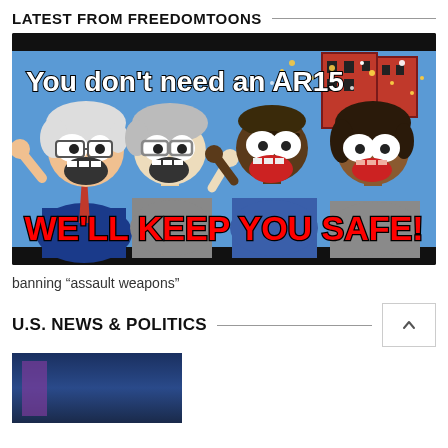LATEST FROM FREEDOMTOONS
[Figure (illustration): Cartoon image showing four animated characters shouting. Top text reads 'You don't need an AR15' and bottom red text reads 'WE'LL KEEP YOU SAFE!']
banning “assault weapons”
U.S. NEWS & POLITICS
[Figure (photo): Partial thumbnail of a photo with dark blue/purple tones, partially visible at bottom of page]